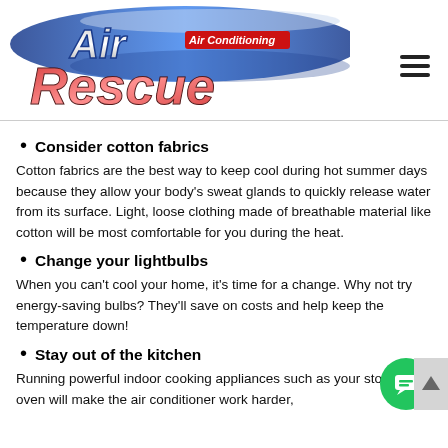[Figure (logo): Air Rescue Air Conditioning logo with stylized blue swoosh and red/white 'Rescue' text]
Consider cotton fabrics
Cotton fabrics are the best way to keep cool during hot summer days because they allow your body's sweat glands to quickly release water from its surface. Light, loose clothing made of breathable material like cotton will be most comfortable for you during the heat.
Change your lightbulbs
When you can't cool your home, it's time for a change. Why not try energy-saving bulbs? They'll save on costs and help keep the temperature down!
Stay out of the kitchen
Running powerful indoor cooking appliances such as your stove or oven will make the air conditioner work harder,